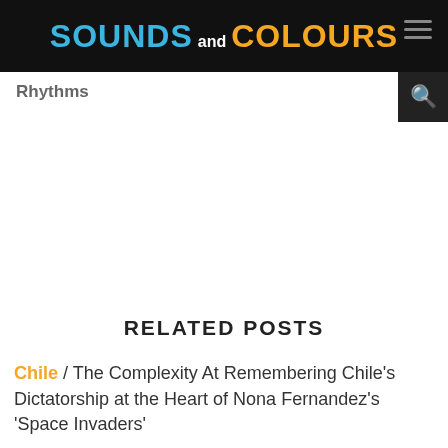Sounds and Colours
Rhythms
RELATED POSTS
Chile / The Complexity At Remembering Chile's Dictatorship at the Heart of Nona Fernandez's 'Space Invaders'